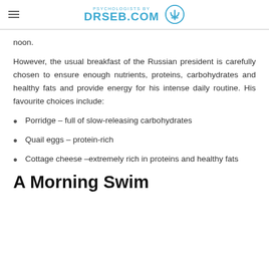PSYCHOLOGISTS BY DRSEB.COM
noon.
However, the usual breakfast of the Russian president is carefully chosen to ensure enough nutrients, proteins, carbohydrates and healthy fats and provide energy for his intense daily routine. His favourite choices include:
Porridge – full of slow-releasing carbohydrates
Quail eggs – protein-rich
Cottage cheese –extremely rich in proteins and healthy fats
A Morning Swim